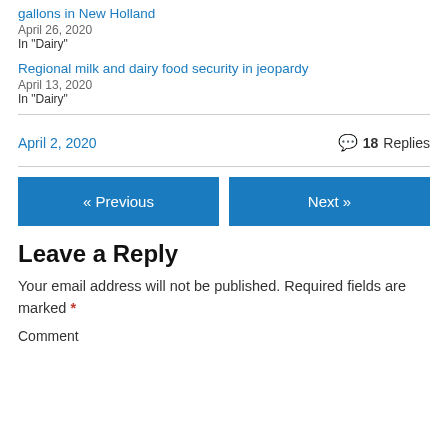gallons in New Holland
April 26, 2020
In "Dairy"
Regional milk and dairy food security in jeopardy
April 13, 2020
In "Dairy"
April 2, 2020  💬 18 Replies
« Previous
Next »
Leave a Reply
Your email address will not be published. Required fields are marked *
Comment